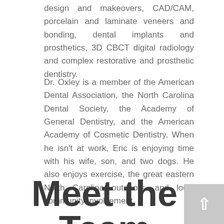design and makeovers, CAD/CAM, porcelain and laminate veneers and bonding, dental implants and prosthetics, 3D CBCT digital radiology and complex restorative and prosthetic dentistry.
Dr. Oxley is a member of the American Dental Association, the North Carolina Dental Society, the Academy of General Dentistry, and the American Academy of Cosmetic Dentistry. When he isn't at work, Eric is enjoying time with his wife, son, and two dogs. He also enjoys exercise, the great eastern North Carolina outdoors, and local community involvement.
Meet the Team